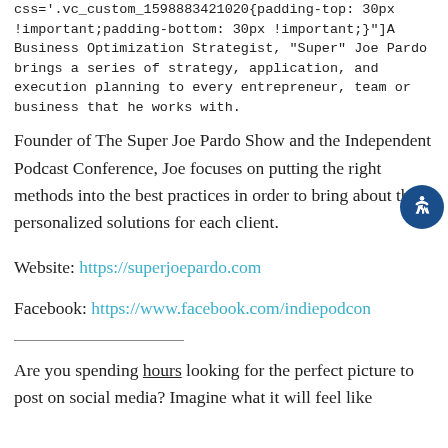css='.vc_custom_1598883421020{padding-top: 30px !important;padding-bottom: 30px !important;}']A Business Optimization Strategist, "Super" Joe Pardo brings a series of strategy, application, and execution planning to every entrepreneur, team or business that he works with.
Founder of The Super Joe Pardo Show and the Independent Podcast Conference, Joe focuses on putting the right methods into the best practices in order to bring about the personalized solutions for each client.
Website: https://superjoepardo.com
Facebook: https://www.facebook.com/indiepodcon
Are you spending hours looking for the perfect picture to post on social media? Imagine what it will feel like when you finally had the personalization you need.